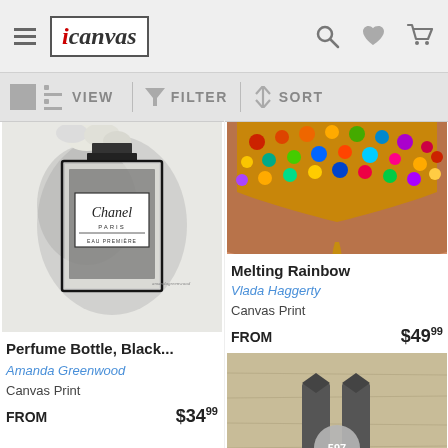iCanvas - VIEW FILTER SORT toolbar
[Figure (screenshot): iCanvas website header with hamburger menu, iCanvas logo, search icon, heart icon, and cart icon on gray background]
[Figure (screenshot): Toolbar with grid/list view toggle, VIEW label, funnel FILTER icon, and SORT arrows]
[Figure (photo): Black and white illustration of Chanel Paris Eau Premiere perfume bottle with white flowers on gray background]
Perfume Bottle, Black...
Amanda Greenwood
Canvas Print
FROM $34.99
[Figure (photo): Close-up photo of colorful jeweled/rhinestone lips melting with a gold drop, on peach skin background]
Melting Rainbow
Vlada Haggerty
Canvas Print
FROM $49.99
[Figure (photo): Partial view of artwork showing two figures in bow ties on a tan/wood-grain background, with a circular heart badge showing 597]